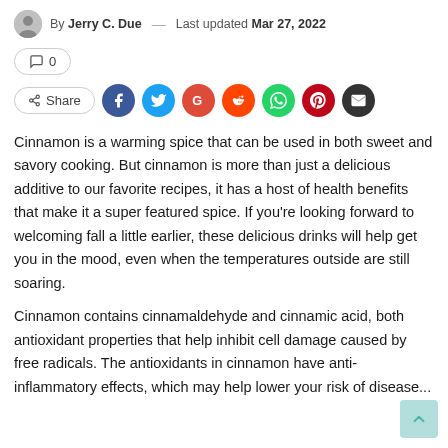By Jerry C. Due — Last updated Mar 27, 2022
💬 0
Share [Facebook, Twitter, Google, Reddit, WhatsApp, Pinterest, Email]
Cinnamon is a warming spice that can be used in both sweet and savory cooking. But cinnamon is more than just a delicious additive to our favorite recipes, it has a host of health benefits that make it a super featured spice. If you're looking forward to welcoming fall a little earlier, these delicious drinks will help get you in the mood, even when the temperatures outside are still soaring.
Cinnamon contains cinnamaldehyde and cinnamic acid, both antioxidant properties that help inhibit cell damage caused by free radicals. The antioxidants in cinnamon have anti-inflammatory effects, which may help lower your risk of disease...